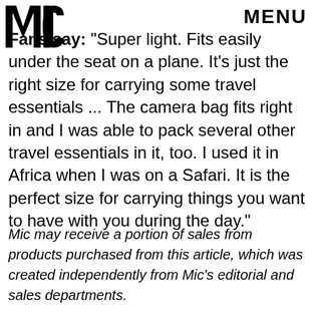MIC | MENU
Fans say: "Super light. Fits easily under the seat on a plane. It's just the right size for carrying some travel essentials ... The camera bag fits right in and I was able to pack several other travel essentials in it, too. I used it in Africa when I was on a Safari. It is the perfect size for carrying things you want to have with you during the day."
Mic may receive a portion of sales from products purchased from this article, which was created independently from Mic's editorial and sales departments.